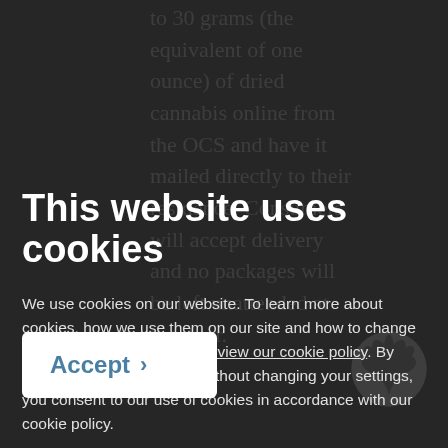to 30 grams (the equivalent of one ounce) of dried cannabis online from the OCS and have it mailed directly to their residence. Consumers will accept delivery and no packages will be left unattended at the door.
This website uses cookies
We use cookies on our website. To learn more about cookies, how we use them on our site and how to change your cookie settings, please view our cookie policy. By continuing to use this site without changing your settings, you consent to our use of cookies in accordance with our cookie policy.
introduced Bill 36, the Cannabis Statute Law Amendment Act, 2018, which regulates the use and sale of cannabis and vapour products. Schedule 2 of Bill 36 enacts the Cannabis Licence Act, 2018, which establishes a licensing scheme for private cannabis retail
[Figure (screenshot): Accept button for cookie consent — white rounded rectangle with bold blue 'Accept' text and a right-pointing arrow chevron]